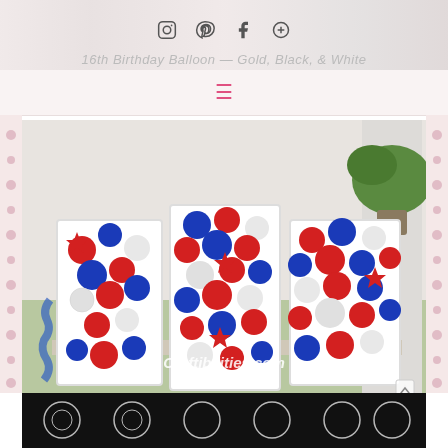Social icons: Instagram, Pinterest, Facebook, Etsy
16th Birthday Balloon — Gold, Black, & White
[Figure (photo): Large 3D box letters spelling USA filled with red, white, and blue balloons and red star-shaped foil balloons, displayed on a porch. Watermark reads Craftibilities.com]
Red, White, Blue USA letters
[Figure (photo): Bottom thumbnail strip showing a partial image with black and white decorative pattern]